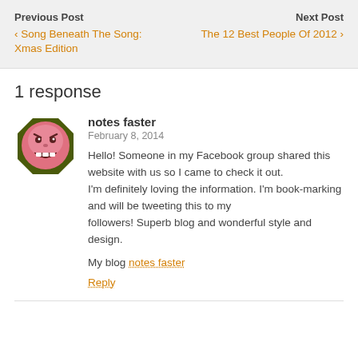Previous Post | ‹ Song Beneath The Song: Xmas Edition | Next Post | The 12 Best People Of 2012 ›
1 response
[Figure (illustration): Cartoon avatar of an angry/grinning pink face emoji with a dark olive green octagonal border]
notes faster
February 8, 2014
Hello! Someone in my Facebook group shared this website with us so I came to check it out.
I'm definitely loving the information. I'm book-marking and will be tweeting this to my followers! Superb blog and wonderful style and design.

My blog notes faster

Reply